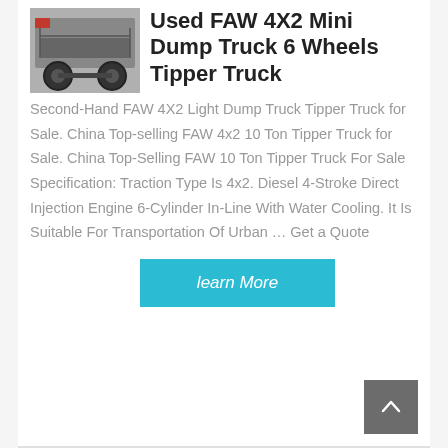[Figure (photo): Underside/chassis view of a FAW truck, showing wheels and axle components]
Used FAW 4X2 Mini Dump Truck 6 Wheels Tipper Truck
Second-Hand FAW 4X2 Light Dump Truck Tipper Truck for Sale. China Top-selling FAW 4x2 10 Ton Tipper Truck for Sale. China Top-Selling FAW 10 Ton Tipper Truck For Sale Specification: Traction Type Is 4x2. Diesel 4-Stroke Direct Injection Engine 6-Cylinder In-Line With Water Cooling. It Is Suitable For Transportation Of Urban … Get a Quote
learn More